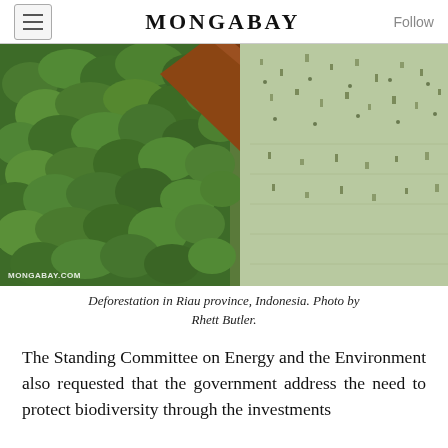MONGABAY
[Figure (photo): Aerial view of deforestation in Riau province, Indonesia, showing dense green forest on the left half contrasted with cleared land on the right half, separated by a diagonal red dirt road or boundary. A watermark reads MONGABAY.COM at the bottom left.]
Deforestation in Riau province, Indonesia. Photo by Rhett Butler.
The Standing Committee on Energy and the Environment also requested that the government address the need to protect biodiversity through the investments